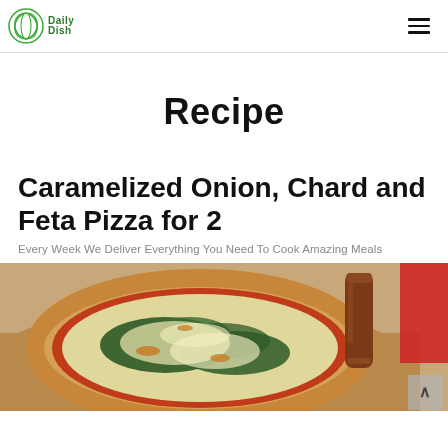DailyDish logo and navigation menu
Recipe
Caramelized Onion, Chard and Feta Pizza for 2
Every Week We Deliver Everything You Need To Cook Amazing Meals
[Figure (photo): A pizza topped with caramelized onions, chard, melted feta and mozzarella cheese on a wooden board, with a wooden pepper mill in the background]